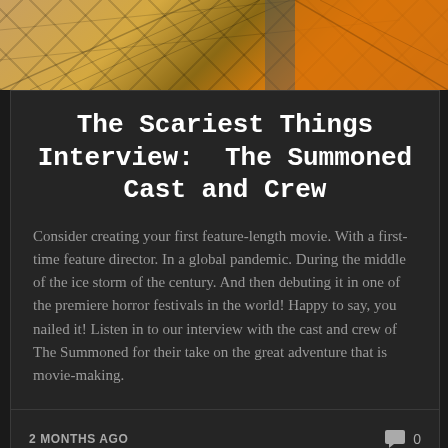[Figure (photo): Top portion of an image showing a tiled or geometric floor/surface scene with orange and tan colors, partially cropped]
The Scariest Things Interview: The Summoned Cast and Crew
Consider creating your first feature-length movie. With a first-time feature director. In a global pandemic. During the middle of the ice storm of the century. And then debuting it in one of the premiere horror festivals in the world! Happy to say, you nailed it! Listen in to our interview with the cast and crew of The Summoned for their take on the great adventure that is movie-making.
2 MONTHS AGO   0
[Figure (photo): Bottom portion of a dark image showing dark silhouetted fingers or creature hands from two sides, against a dark background]